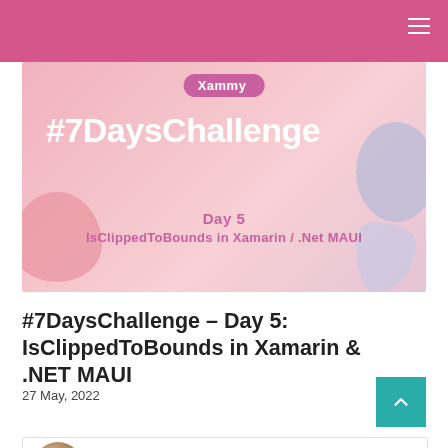[Figure (illustration): Hero banner image for #7DaysChallenge - Day 5: IsClippedToBounds in Xamarin / .Net MAUI. Pink gradient background with decorative blobs in coral and periwinkle. Xammy logo badge at top center. Large white bold text '#7DaysChallenge', subtitle 'Day 5' and 'IsClippedToBounds in Xamarin / .Net MAUI' in pink.]
#7DaysChallenge – Day 5: IsClippedToBounds in Xamarin & .NET MAUI
27 May, 2022
[Figure (photo): Partial view of author avatar photo at bottom of page]